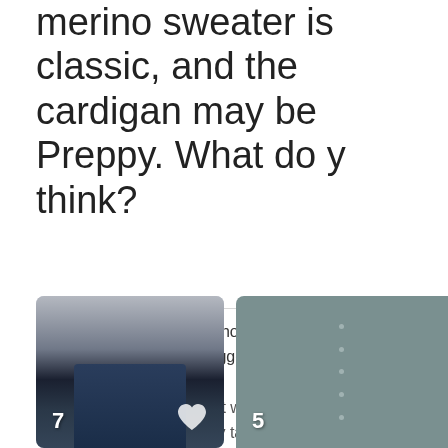merino sweater is classic, and the cardigan may be Preppy. What do you think?
This post has 1 photo. Photos uploaded by this member are only visible to other logged in members.
If you aren't a member, but would like to participate, please consider signing up. It only takes a minute and we'd love to have you.
[Figure (photo): Photo of a person in a dark sweater and jeans, with a number 7 badge and heart icon overlay]
[Figure (photo): Photo of a teal/green cardigan sweater, with a number 5 badge overlay]